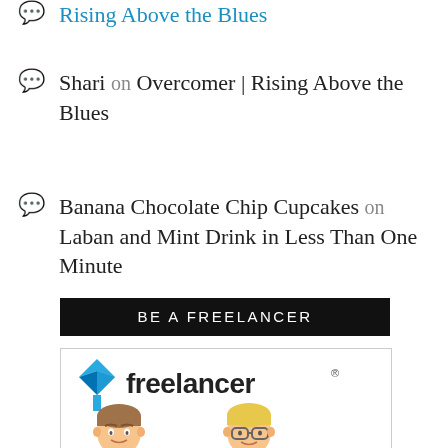Rising Above the Blues
Shari on Overcomer | Rising Above the Blues
Banana Chocolate Chip Cupcakes on Laban and Mint Drink in Less Than One Minute
BE A FREELANCER
[Figure (logo): Freelancer.com logo with two cartoon avatar faces below it]